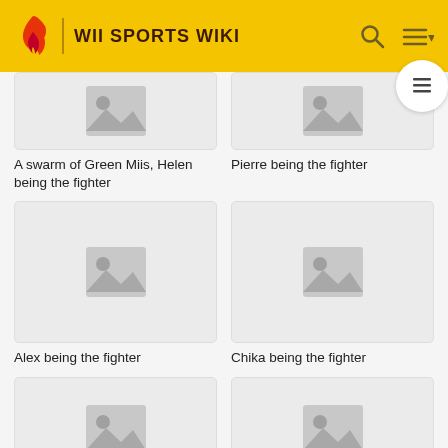WII SPORTS WIKI
[Figure (photo): Placeholder image thumbnail (partially visible) - top left]
[Figure (photo): Placeholder image thumbnail (partially visible) - top right]
A swarm of Green Miis, Helen being the fighter
Pierre being the fighter
[Figure (photo): Placeholder image thumbnail - Alex being the fighter]
[Figure (photo): Placeholder image thumbnail - Chika being the fighter]
Alex being the fighter
Chika being the fighter
[Figure (photo): Placeholder image thumbnail (partially visible) - bottom left]
[Figure (photo): Placeholder image thumbnail (partially visible) - bottom right]